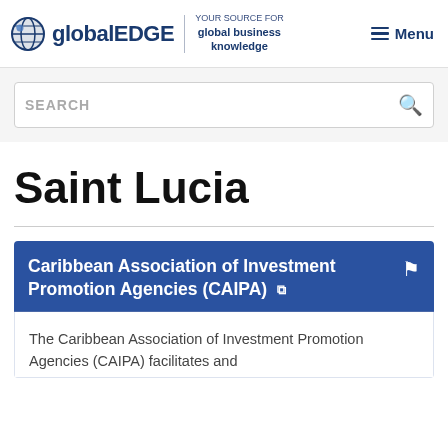globalEDGE — YOUR SOURCE FOR global business knowledge — Menu
SEARCH
Saint Lucia
Caribbean Association of Investment Promotion Agencies (CAIPA)
The Caribbean Association of Investment Promotion Agencies (CAIPA) facilitates and